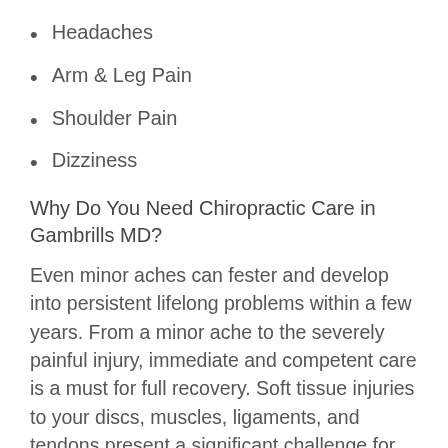Headaches
Arm & Leg Pain
Shoulder Pain
Dizziness
Why Do You Need Chiropractic Care in Gambrills MD?
Even minor aches can fester and develop into persistent lifelong problems within a few years. From a minor ache to the severely painful injury, immediate and competent care is a must for full recovery. Soft tissue injuries to your discs, muscles, ligaments, and tendons present a significant challenge for the body to heal.  Broken bones are placed in a cast and provided a safe haven for proper recovery.  Not our discs and soft